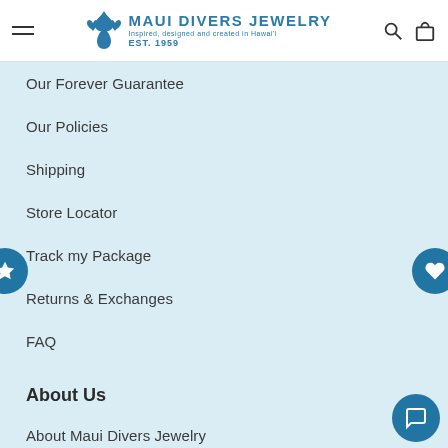Maui Divers Jewelry — Inspired, designed and created in Hawai'i EST. 1959
Our Forever Guarantee
Our Policies
Shipping
Store Locator
Track my Package
Returns & Exchanges
FAQ
About Us
About Maui Divers Jewelry
Virtual Museum and Factory Tour